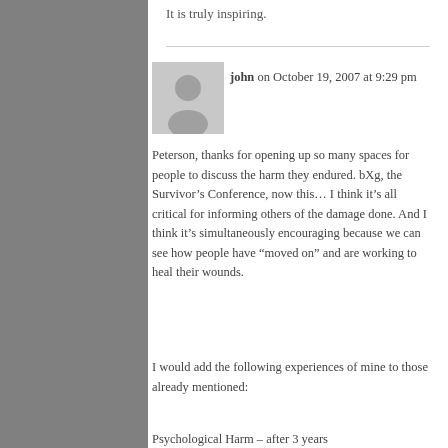It is truly inspiring.
john  on October 19, 2007 at 9:29 pm
Peterson, thanks for opening up so many spaces for people to discuss the harm they endured. bXg, the Survivor’s Conference, now this… I think it’s all critical for informing others of the damage done. And I think it’s simultaneously encouraging because we can see how people have “moved on” and are working to heal their wounds.
I would add the following experiences of mine to those already mentioned:
Psychological Harm – after 3 years